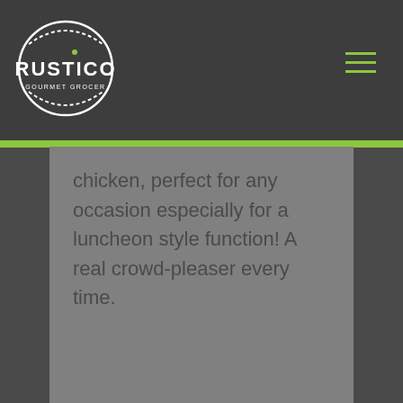[Figure (logo): Rustico Gourmet Grocer circular logo with white text on dark background]
chicken, perfect for any occasion especially for a luncheon style function! A real crowd-pleaser every time.